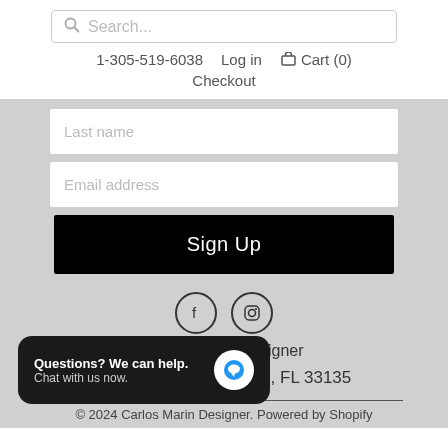Search...
1-305-519-6038   Log in   Cart (0)   Checkout
Last name
Email address
Sign Up
[Figure (illustration): Facebook and Instagram social media icons (circles with f and camera icons)]
Carlos Marin Designer
1641 SW 8th St, Miami, FL 33135
Questions? We can help. Chat with us now.
© 2024 Carlos Marin Designer. Powered by Shopify